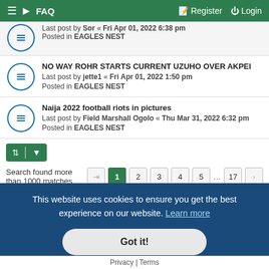FAQ | Register | Login
Last post by Sor « Fri Apr 01, 2022 6:38 pm
Posted in EAGLES NEST
NO WAY ROHR STARTS CURRENT UZUHO OVER AKPEI
Last post by jette1 « Fri Apr 01, 2022 1:50 pm
Posted in EAGLES NEST
Naija 2022 football riots in pictures
Last post by Field Marshall Ogolo « Thu Mar 31, 2022 6:32 pm
Posted in EAGLES NEST
Search found more than 1000 matches
This website uses cookies to ensure you get the best experience on our website. Learn more
Got it!
Privacy | Terms